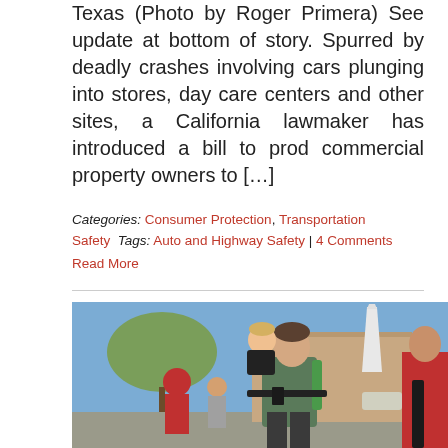Texas (Photo by Roger Primera) See update at bottom of story. Spurred by deadly crashes involving cars plunging into stores, day care centers and other sites, a California lawmaker has introduced a bill to prod commercial property owners to […]
Categories: Consumer Protection, Transportation Safety  Tags: Auto and Highway Safety | 4 Comments
Read More
[Figure (photo): A man holding a baby/toddler on his chest while carrying a rifle, standing outdoors in front of a building. Another person in a red shirt is visible on the right edge, also with a firearm. Other people visible in background.]